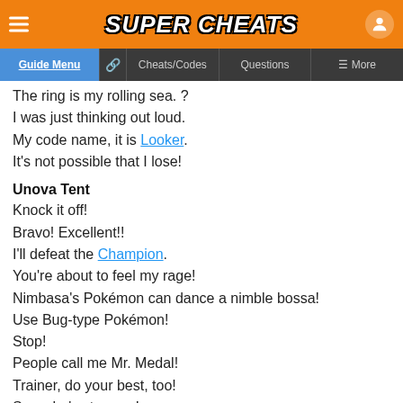Super Cheats — Guide Menu | Cheats/Codes | Questions | More
The ring is my rolling sea. ?
I was just thinking out loud.
My code name, it is Looker.
It's not possible that I lose!
Unova Tent
Knock it off!
Bravo! Excellent!!
I'll defeat the Champion.
You're about to feel my rage!
Nimbasa's Pokémon can dance a nimble bossa!
Use Bug-type Pokémon!
Stop!
People call me Mr. Medal!
Trainer, do your best, too!
See who's stronger!
Plasbad, for short!
I won't allow anyone to stop me!